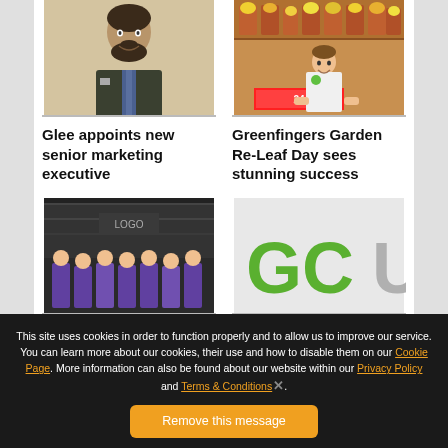[Figure (photo): Headshot of a man in a suit with a beard]
[Figure (photo): Man standing at a garden centre stall with flowers and plant pots]
Glee appoints new senior marketing executive
Greenfingers Garden Re-Leaf Day sees stunning success
[Figure (photo): Group of people in purple uniforms outside a dark building]
[Figure (logo): GCU logo in green and grey letters]
This site uses cookies in order to function properly and to allow us to improve our service. You can learn more about our cookies, their use and how to disable them on our Cookie Page. More information can also be found about our website within our Privacy Policy and Terms & Conditions.
Remove this message